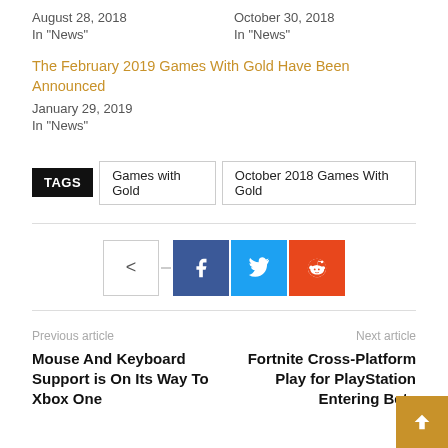August 28, 2018
In "News"
October 30, 2018
In "News"
The February 2019 Games With Gold Have Been Announced
January 29, 2019
In "News"
TAGS   Games with Gold   October 2018 Games With Gold
[Figure (infographic): Social share buttons: share icon outline, Facebook (blue), Twitter (cyan), Reddit (orange)]
Previous article
Mouse And Keyboard Support is On Its Way To Xbox One
Next article
Fortnite Cross-Platform Play for PlayStation Entering Beta Testing